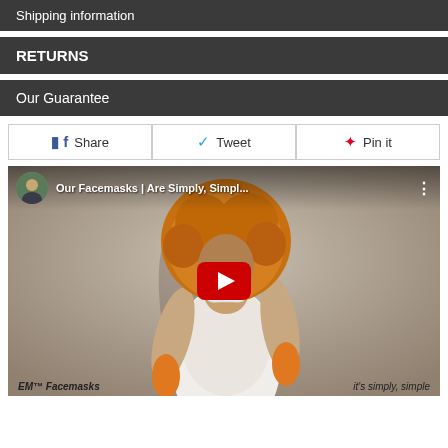Shipping information
RETURNS
Our Guarantee
Share  Tweet  Pin it
[Figure (screenshot): YouTube video thumbnail showing a woman with orange curly hair wearing a floral face mask and white lace dress. Video title: 'Our Facemasks | Are Simply, Simpl...' with a red YouTube play button overlay.]
EM™ Facemasks    it's simply, simple